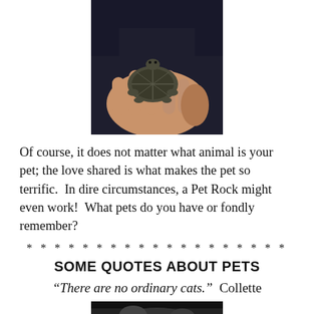[Figure (photo): A small baby turtle resting in an open human hand against a dark background.]
Of course, it does not matter what animal is your pet; the love shared is what makes the pet so terrific.  In dire circumstances, a Pet Rock might even work!  What pets do you have or fondly remember?
* * * * * * * * * * * * * * * * * * *
SOME QUOTES ABOUT PETS
“There are no ordinary cats.”  Collette
[Figure (photo): Partial photo visible at bottom of page, dark tones.]